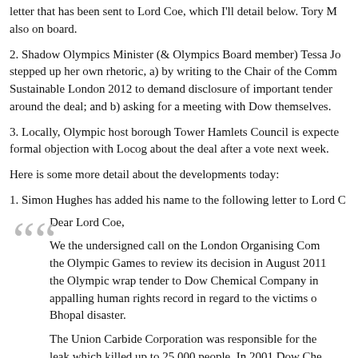letter that has been sent to Lord Coe, which I'll detail below. Tory MPs also on board.
2. Shadow Olympics Minister (& Olympics Board member) Tessa Jowell stepped up her own rhetoric, a) by writing to the Chair of the Comm Sustainable London 2012 to demand disclosure of important tender around the deal; and b) asking for a meeting with Dow themselves.
3. Locally, Olympic host borough Tower Hamlets Council is expected formal objection with Locog about the deal after a vote next week.
Here is some more detail about the developments today:
1. Simon Hughes has added his name to the following letter to Lord C
Dear Lord Coe,
We the undersigned call on the London Organising Com the Olympic Games to review its decision in August 2011 the Olympic wrap tender to Dow Chemical Company in appalling human rights record in regard to the victims of Bhopal disaster.
The Union Carbide Corporation was responsible for the leak which killed up to 25,000 people. In 2001 Dow Cher Company bought Union Carbide, wholly owns the comp elects every single director to its board, yet they deny an for the original disaster Union Carbide is entitled to th